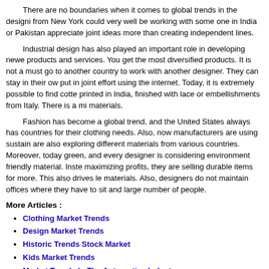There are no boundaries when it comes to global trends in the designing from New York could very well be working with some one in India or Pakistan appreciate joint ideas more than creating independent lines.
Industrial design has also played an important role in developing newer products and services. You get the most diversified products. It is not a must go to another country to work with another designer. They can stay in their own put in joint effort using the internet. Today, it is extremely possible to find cott printed in India, finished with lace or embellishments from Italy. There is a mix materials.
Fashion has become a global trend, and the United States always has countries for their clothing needs. Also, now manufacturers are using sustain are also exploring different materials from various countries. Moreover, today green, and every designer is considering environment friendly material. Inste maximizing profits, they are selling durable items for more. This also drives le materials. Also, designers do not maintain offices where they have to sit and large number of people.
More Articles :
Clothing Market Trends
Design Market Trends
Historic Trends Stock Market
Kids Market Trends
Market Trends In The Automotive Industry
Market Trends Of Sports Drinks
Retail Market Trends
Trends In Housing Market